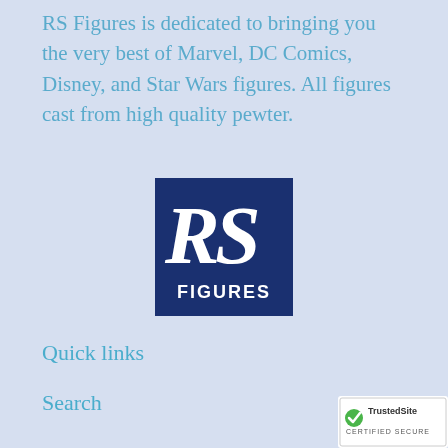RS Figures is dedicated to bringing you the very best of Marvel, DC Comics, Disney, and Star Wars figures. All figures cast from high quality pewter.
[Figure (logo): RS Figures logo: dark navy blue square with white 'RS' letters above white 'FIGURES' text]
Quick links
Search
[Figure (logo): TrustedSite Certified Secure badge]